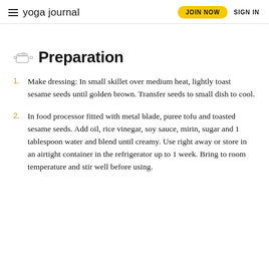yoga journal | JOIN NOW  SIGN IN
Preparation
Make dressing: In small skillet over medium heat, lightly toast sesame seeds until golden brown. Transfer seeds to small dish to cool.
In food processor fitted with metal blade, puree tofu and toasted sesame seeds. Add oil, rice vinegar, soy sauce, mirin, sugar and 1 tablespoon water and blend until creamy. Use right away or store in an airtight container in the refrigerator up to 1 week. Bring to room temperature and stir well before using.